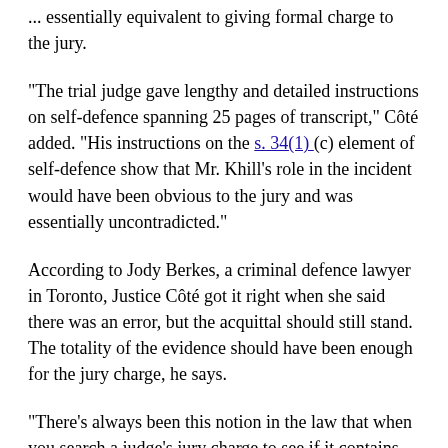... essentially equivalent to giving formal charge to the jury.
"The trial judge gave lengthy and detailed instructions on self-defence spanning 25 pages of transcript," Côté added. "His instructions on the s. 34(1) (c) element of self-defence show that Mr. Khill's role in the incident would have been obvious to the jury and was essentially uncontradicted."
According to Jody Berkes, a criminal defence lawyer in Toronto, Justice Côté got it right when she said there was an error, but the acquittal should still stand. The totality of the evidence should have been enough for the jury charge, he says.
"There's always been this notion in the law that when you search a judge's jury charge to see if it contains errors, you're not supposed to dissect it at the minutiae level," says Berkes. "You're not supposed to break it down and look at each piece in isolation. You're